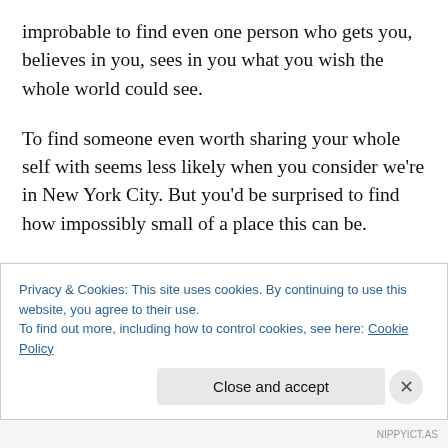improbable to find even one person who gets you, believes in you, sees in you what you wish the whole world could see.
To find someone even worth sharing your whole self with seems less likely when you consider we're in New York City. But you'd be surprised to find how impossibly small of a place this can be.
It takes effort and sincerity and tiny little seeds of devotion. It takes me responding to that random listing on Craigslist
Privacy & Cookies: This site uses cookies. By continuing to use this website, you agree to their use.
To find out more, including how to control cookies, see here: Cookie Policy
Close and accept